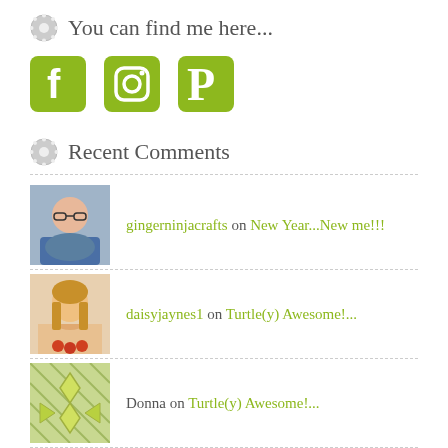You can find me here...
[Figure (other): Social media icons: Facebook, Instagram, Pinterest in green]
Recent Comments
gingerninjacrafts on New Year...New me!!!
daisyjaynes1 on Turtle(y) Awesome!...
Donna on Turtle(y) Awesome!...
daisyjaynes1 on Turtle(y) Awesome!...
gingerninjacrafts on Turtle(y) Awesome!